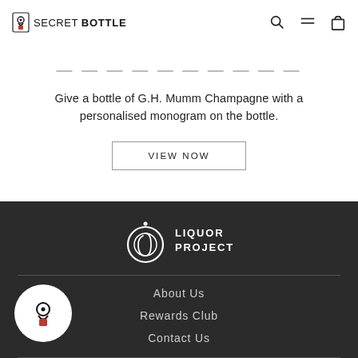SECRET BOTTLE (logo) with search, menu, cart icons
Give a bottle of G.H. Mumm Champagne with a personalised monogram on the bottle.
VIEW NOW
[Figure (logo): Liquor Project logo — circular swirl icon in white with LIQUOR PROJECT text in white capitals]
About Us
Rewards Club
Contact Us
Search
[Figure (logo): Secret Bottle circular logo icon — keyhole/figure in white and red on white circle background]